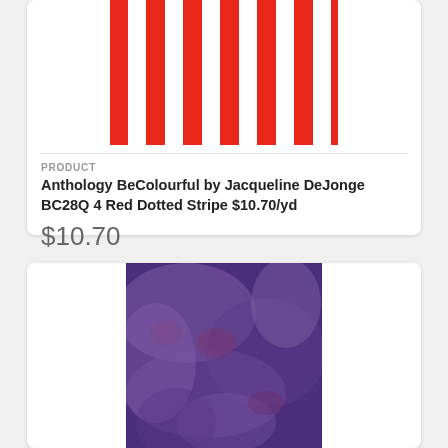[Figure (photo): Red and white vertical dotted stripe fabric pattern]
PRODUCT
Anthology BeColourful by Jacqueline DeJonge BC28Q 4 Red Dotted Stripe $10.70/yd
$10.70
[Figure (photo): Purple batik fabric with mottled texture]